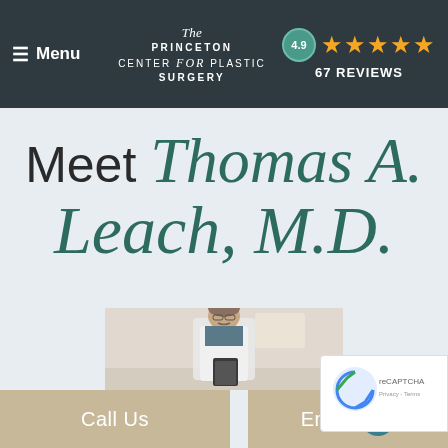Menu | The Princeton Center for Plastic Surgery | 4.9 ★★★★★ 67 REVIEWS
Meet Thomas A. Leach, M.D.
[Figure (photo): Doctor Thomas A. Leach M.D. in white lab coat holding a clipboard, standing in a bright medical office interior]
Call Us
Email
[Figure (other): reCAPTCHA badge with logo, Privacy and Terms links]